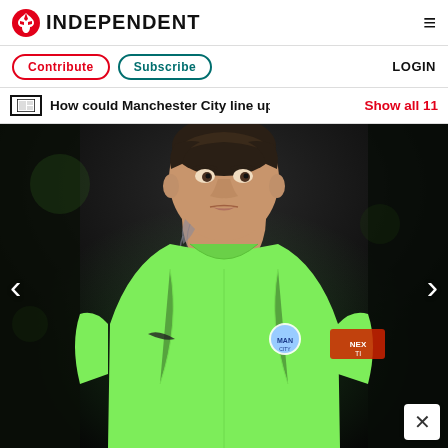INDEPENDENT
Contribute  Subscribe  LOGIN
How could Manchester City line up thi  Show all 11
[Figure (photo): Close-up photo of a Manchester City goalkeeper wearing a bright green/lime goalkeeper kit with a Nike logo and Manchester City badge. The player has tattoos on his neck. Dark blurred stadium background.]